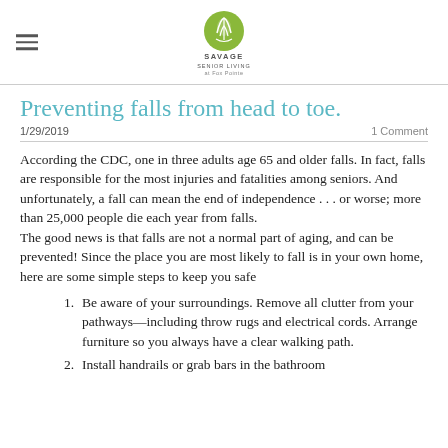Savage Senior Living at Fox Pointe
Preventing falls from head to toe.
1/29/2019    1 Comment
According the CDC, one in three adults age 65 and older falls. In fact, falls are responsible for the most injuries and fatalities among seniors. And unfortunately, a fall can mean the end of independence . . . or worse; more than 25,000 people die each year from falls.
The good news is that falls are not a normal part of aging, and can be prevented! Since the place you are most likely to fall is in your own home, here are some simple steps to keep you safe
Be aware of your surroundings. Remove all clutter from your pathways—including throw rugs and electrical cords. Arrange furniture so you always have a clear walking path.
(partial) Install handrails or grab bars in the bathroom...